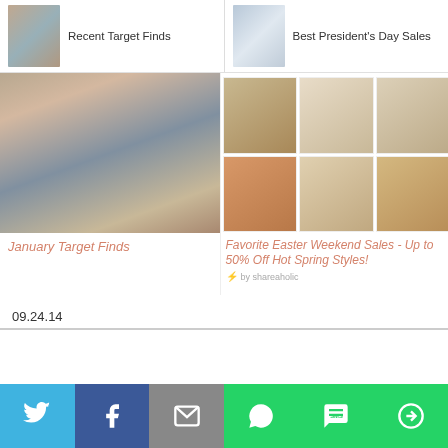[Figure (screenshot): Related post thumbnail: woman in floral outfit]
Recent Target Finds
[Figure (screenshot): Related post thumbnail: woman in white top and black pants]
Best President's Day Sales
[Figure (photo): Woman in pink sweater and ripped jeans in living room]
January Target Finds
[Figure (photo): Grid of sandal product photos: espadrilles, slide sandals, strappy heels]
Favorite Easter Weekend Sales - Up to 50% Off Hot Spring Styles!
by shareaholic
09.24.14
[Figure (infographic): Social sharing bar with Twitter, Facebook, Email, WhatsApp, SMS, and More buttons]